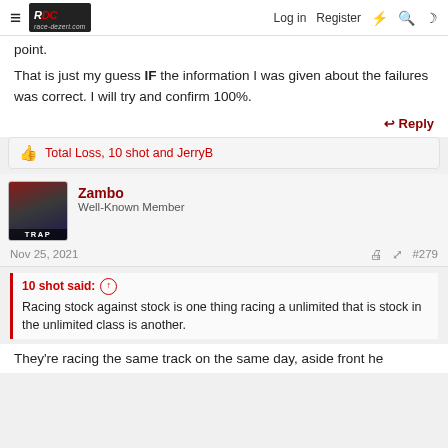race-dezert.com | Log in | Register
point.
That is just my guess IF the information I was given about the failures was correct. I will try and confirm 100%.
Reply
Total Loss, 10 shot and JerryB
Zambo
Well-Known Member
Nov 25, 2021  #279
10 shot said:
Racing stock against stock is one thing racing a unlimited that is stock in the unlimited class is another.
They're racing the same track on the same day, aside front he